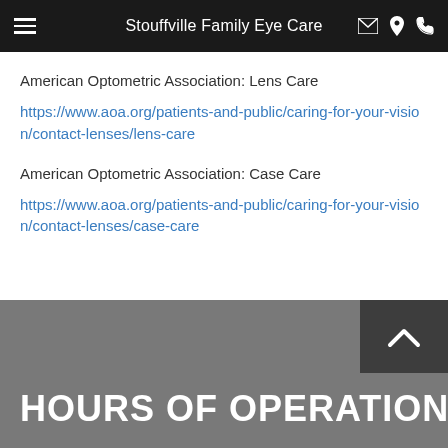Stouffville Family Eye Care
American Optometric Association: Lens Care
https://www.aoa.org/patients-and-public/caring-for-your-vision/contact-lenses/lens-care
American Optometric Association: Case Care
https://www.aoa.org/patients-and-public/caring-for-your-vision/contact-lenses/case-care
HOURS OF OPERATION